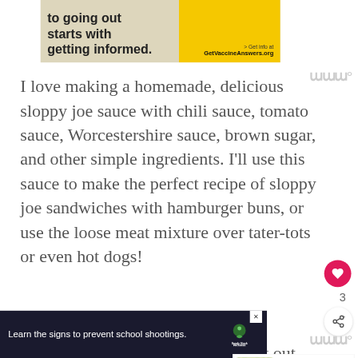[Figure (other): Yellow and beige advertisement banner with text 'to going out starts with getting informed.' and yellow panel with '> Get info at GetVaccineAnswers.org']
I love making a homemade, delicious sloppy joe sauce with chili sauce, tomato sauce, Worcestershire sauce, brown sugar, and other simple ingredients. I'll use this sauce to make the perfect recipe of sloppy joe sandwiches with hamburger buns, or use the loose meat mixture over tater-tots or even hot dogs!
For an Easy Sloppy Joe Dinner, get out your slow cooker! Once you've made a big pot of homemade sloppy joes, pour the meat sauce into your slow
[Figure (other): What's Next callout with food image thumbnail and text 'Sloppy Joe Tot-Chos']
[Figure (other): Sandy Hook Promise advertisement banner: 'Learn the signs to prevent school shootings.' with logo]